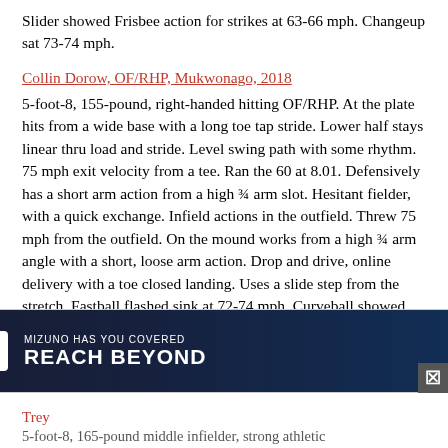Slider showed Frisbee action for strikes at 63-66 mph. Changeup sat 73-74 mph.
Collin Dorow, OF/RHP, Mukwonago, 2018
5-foot-8, 155-pound, right-handed hitting OF/RHP. At the plate hits from a wide base with a long toe tap stride. Lower half stays linear thru load and stride. Level swing path with some rhythm. 75 mph exit velocity from a tee. Ran the 60 at 8.01. Defensively has a short arm action from a high ¾ arm slot. Hesitant fielder, with a quick exchange. Infield actions in the outfield. Threw 75 mph from the outfield. On the mound works from a high ¾ arm angle with a short, loose arm action. Drop and drive, online delivery with a toe closed landing. Uses a slide step from the stretch. Fastball flashed sink at 72-74 mph. Curveball showed 12-6 shape at 61-64 mph for strikes. Changeup showed fading action at 64-67 mph.
[Figure (other): Advertisement banner: PBR x Mizuno - MIZUNO HAS YOU COVERED / REACH BEYOND]
Trey
5-foot-8, 165-pound middle infielder, strong athletic